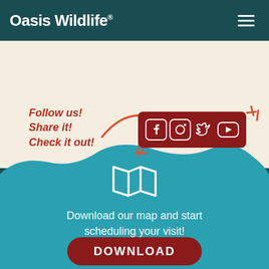Oasis Wildlife
[Figure (infographic): Social media follow prompt with arrow pointing to social media icons bar (Facebook, Instagram, Twitter, YouTube) on cream background. Text reads: Follow us! Share it! Check it out!]
[Figure (infographic): Teal blob shape with white map/folded-map icon, text 'Download our map and start scheduling your visit!' and a dark red DOWNLOAD button]